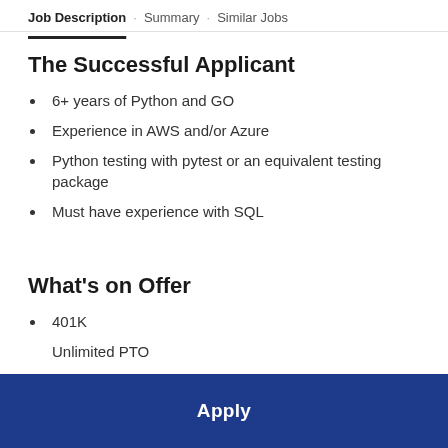Job Description · Summary · Similar Jobs
The Successful Applicant
6+ years of Python and GO
Experience in AWS and/or Azure
Python testing with pytest or an equivalent testing package
Must have experience with SQL
What's on Offer
401K
Unlimited PTO
Apply